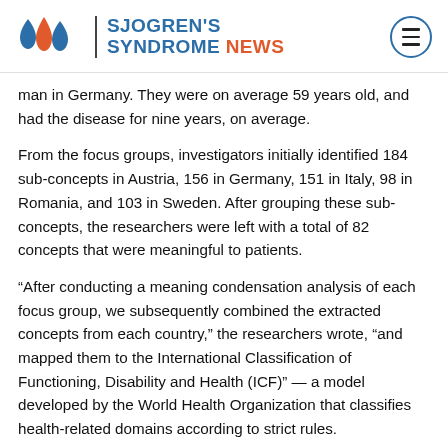SJOGREN'S SYNDROME NEWS
man in Germany. They were on average 59 years old, and had the disease for nine years, on average.
From the focus groups, investigators initially identified 184 sub-concepts in Austria, 156 in Germany, 151 in Italy, 98 in Romania, and 103 in Sweden. After grouping these sub-concepts, the researchers were left with a total of 82 concepts that were meaningful to patients.
“After conducting a meaning condensation analysis of each focus group, we subsequently combined the extracted concepts from each country,” the researchers wrote, “and mapped them to the International Classification of Functioning, Disability and Health (ICF)” — a model developed by the World Health Organization that classifies health-related domains according to strict rules.